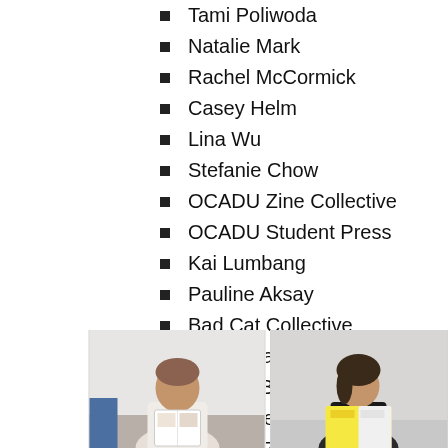Tami Poliwoda
Natalie Mark
Rachel McCormick
Casey Helm
Lina Wu
Stefanie Chow
OCADU Zine Collective
OCADU Student Press
Kai Lumbang
Pauline Aksay
Bad Cat Collective
Laura Watson
Leanna Bleakney
Collective TBD
Hannah Zbitnew
[Figure (photo): Person holding a zine or book, seated at a table]
[Figure (photo): Person smiling, holding a yellow and white printed item]